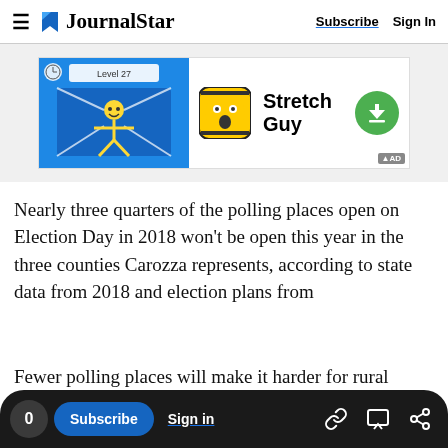≡ JournalStar  Subscribe  Sign In
[Figure (screenshot): Advertisement banner for 'Stretch Guy' mobile game showing game screenshot on left, app icon in center, app name 'Stretch Guy', and green download button on right]
Nearly three quarters of the polling places open on Election Day in 2018 won't be open this year in the three counties Carozza represents, according to state data from 2018 and election plans from
Fewer polling places will make it harder for rural